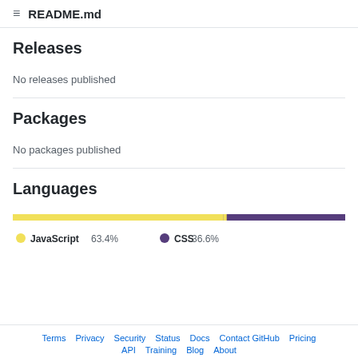README.md
Releases
No releases published
Packages
No packages published
Languages
[Figure (stacked-bar-chart): Languages]
Terms  Privacy  Security  Status  Docs  Contact GitHub  Pricing  API  Training  Blog  About